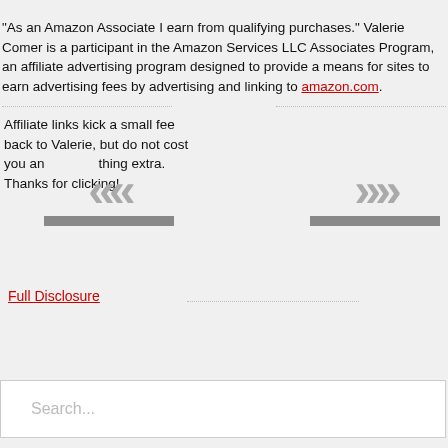"As an Amazon Associate I earn from qualifying purchases." Valerie Comer is a participant in the Amazon Services LLC Associates Program, an affiliate advertising program designed to provide a means for sites to earn advertising fees by advertising and linking to amazon.com.
Affiliate links kick a small fee back to Valerie, but do not cost you anything extra. Thanks for clicking!
Full Disclosure
Search...